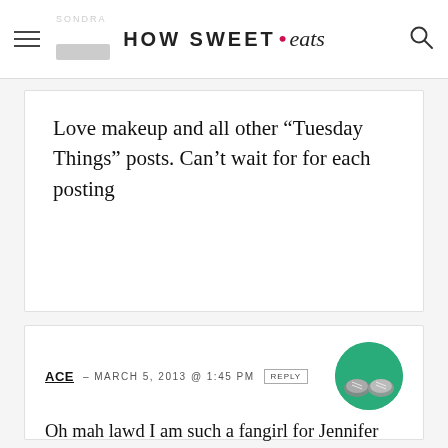HOW SWEET eats
Love makeup and all other “Tuesday Things” posts. Can’t wait for for each posting
ACE – MARCH 5, 2013 @ 1:45 PM REPLY
Oh mah lawd I am such a fangirl for Jennifer Lawrence. Apparently she went to high school with family friends of ours. I’m still working out how I can get an intro and not squee my pants if (when ) I meet her.